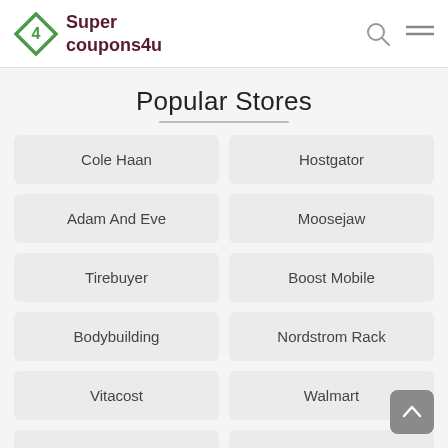Super coupons4u
Popular Stores
Cole Haan
Hostgator
Adam And Eve
Moosejaw
Tirebuyer
Boost Mobile
Bodybuilding
Nordstrom Rack
Vitacost
Walmart
Ebags
Sephora
Wine.com
Mrs Fields